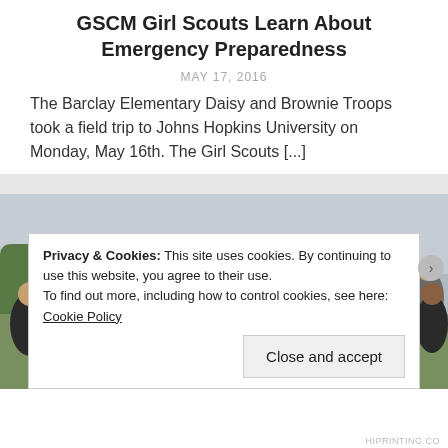GSCM Girl Scouts Learn About Emergency Preparedness
MAY 17, 2016
The Barclay Elementary Daisy and Brownie Troops took a field trip to Johns Hopkins University on Monday, May 16th. The Girl Scouts [...]
[Figure (photo): Large group photo of Girl Scout troops and adult leaders/parents standing together outdoors near a grassy area with trees in the background.]
Privacy & Cookies: This site uses cookies. By continuing to use this website, you agree to their use.
To find out more, including how to control cookies, see here: Cookie Policy